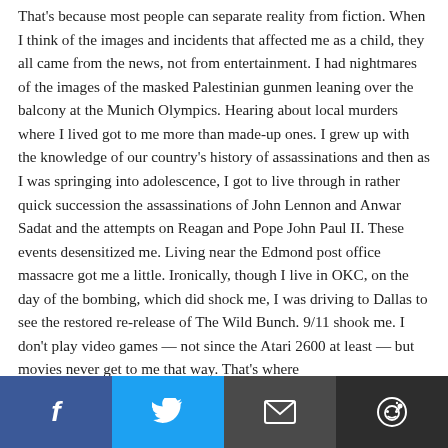That's because most people can separate reality from fiction. When I think of the images and incidents that affected me as a child, they all came from the news, not from entertainment. I had nightmares of the images of the masked Palestinian gunmen leaning over the balcony at the Munich Olympics. Hearing about local murders where I lived got to me more than made-up ones. I grew up with the knowledge of our country's history of assassinations and then as I was springing into adolescence, I got to live through in rather quick succession the assassinations of John Lennon and Anwar Sadat and the attempts on Reagan and Pope John Paul II. These events desensitized me. Living near the Edmond post office massacre got me a little. Ironically, though I live in OKC, on the day of the bombing, which did shock me, I was driving to Dallas to see the restored re-release of The Wild Bunch. 9/11 shook me. I don't play video games — not since the Atari 2600 at least — but movies never get to me that way. That's where
[Figure (other): Social media share bar with Facebook (blue), Twitter (light blue), Email (dark gray), and Reddit (dark gray) buttons]